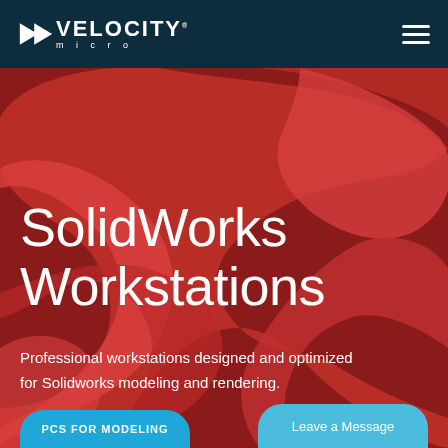[Figure (logo): Velocity Micro logo — white arrow/chevron icon with 'VELOCITY micro' text in white on dark teal header bar]
[Figure (illustration): Hero section background with dark red base color and abstract flowing red ribbon/swoosh shapes creating depth]
SolidWorks Workstations
Professional workstations designed and optimized for Solidworks modeling and rendering.
PCS FOR MODELING
Leave a Message